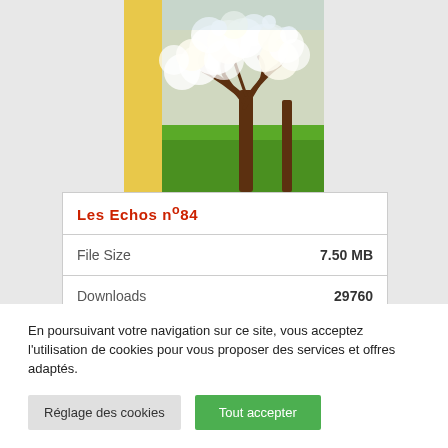[Figure (photo): Book cover of 'Les Echos de Ste...' showing a blooming cherry/apple tree with white blossoms in a green field. The spine/left side has a yellow/golden stripe with the text 'Les Echos de Ste' written vertically in a cursive font.]
| Les Echos nº84 |  |
| File Size | 7.50 MB |
| Downloads | 29760 |
En poursuivant votre navigation sur ce site, vous acceptez l'utilisation de cookies pour vous proposer des services et offres adaptés.
Réglage des cookies
Tout accepter